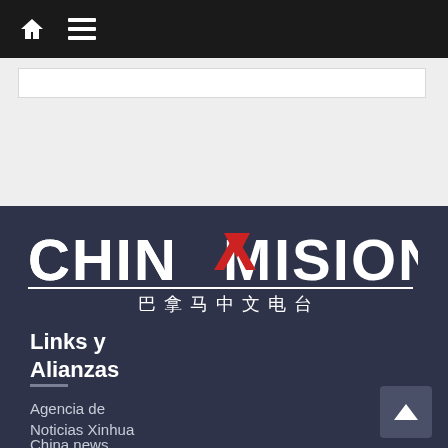Chinavision — navigation bar with home and menu icons
[Figure (logo): Chinavision logo with Chinese text 巴拿马中文电台]
Links y Alianzas
Agencia de Noticias Xinhua
China news